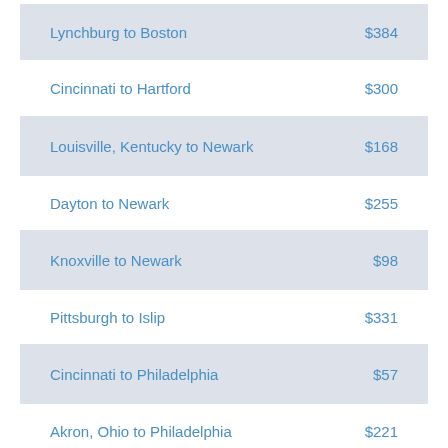| Route | Price |
| --- | --- |
| Lynchburg to Boston | $384 |
| Cincinnati to Hartford | $300 |
| Louisville, Kentucky to Newark | $168 |
| Dayton to Newark | $255 |
| Knoxville to Newark | $98 |
| Pittsburgh to Islip | $331 |
| Cincinnati to Philadelphia | $57 |
| Akron, Ohio to Philadelphia | $221 |